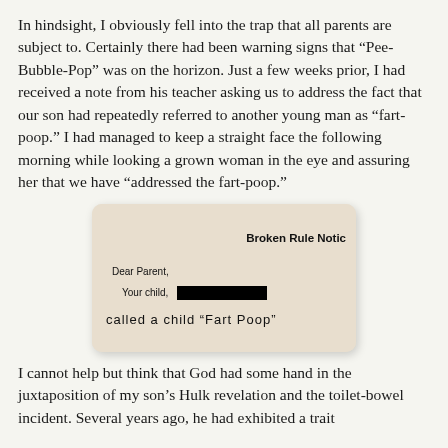In hindsight, I obviously fell into the trap that all parents are subject to. Certainly there had been warning signs that “Pee-Bubble-Pop” was on the horizon. Just a few weeks prior, I had received a note from his teacher asking us to address the fact that our son had repeatedly referred to another young man as “fart-poop.” I had managed to keep a straight face the following morning while looking a grown woman in the eye and assuring her that we have “addressed the fart-poop.”
[Figure (photo): A photograph of a school Broken Rule Notice letter. It reads 'Broken Rule Notice' at the top right, then 'Dear Parent,' and 'Your child,' with a black redacted bar, followed by handwritten text reading 'called a child "Fart Poop"']
I cannot help but think that God had some hand in the juxtaposition of my son’s Hulk revelation and the toilet-bowel incident. Several years ago, he had exhibited a trait